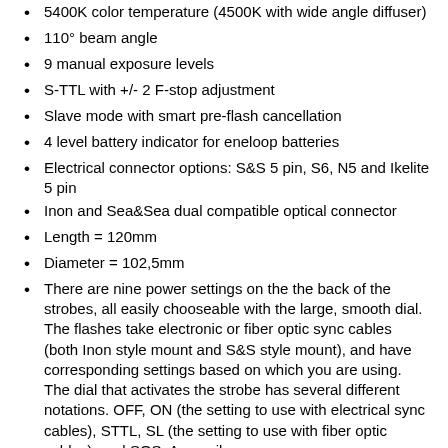5400K color temperature (4500K with wide angle diffuser)
110° beam angle
9 manual exposure levels
S-TTL with +/- 2 F-stop adjustment
Slave mode with smart pre-flash cancellation
4 level battery indicator for eneloop batteries
Electrical connector options: S&S 5 pin, S6, N5 and Ikelite 5 pin
Inon and Sea&Sea dual compatible optical connector
Length = 120mm
Diameter = 102,5mm
There are nine power settings on the the back of the strobes, all easily chooseable with the large, smooth dial. The flashes take electronic or fiber optic sync cables (both Inon style mount and S&S style mount), and have corresponding settings based on which you are using. The dial that activates the strobe has several different notations. OFF, ON (the setting to use with electrical sync cables), STTL, SL (the setting to use with fiber optic cables), and SOS. An easily